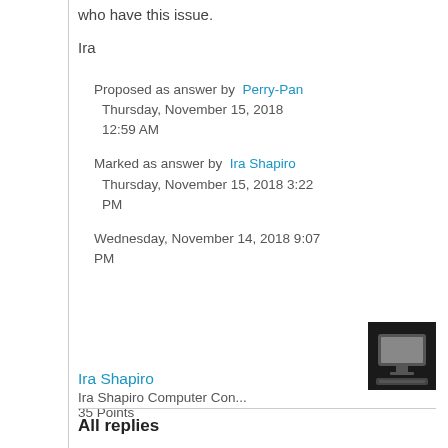who have this issue.
Ira
Proposed as answer by Perry-Pan Thursday, November 15, 2018 12:59 AM
Marked as answer by Ira Shapiro Thursday, November 15, 2018 3:22 PM
Wednesday, November 14, 2018 9:07 PM
[Figure (photo): User avatar showing a computer/monitor icon on dark background]
Ira Shapiro
Ira Shapiro Computer Con...
35 Points
All replies